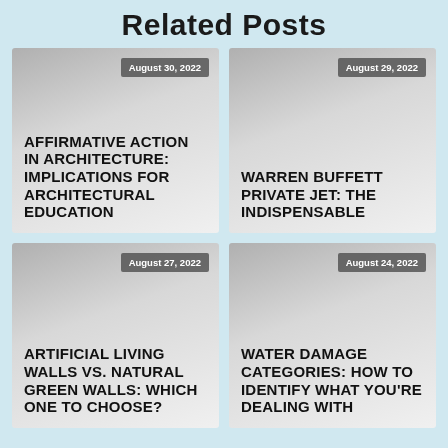Related Posts
August 30, 2022
AFFIRMATIVE ACTION IN ARCHITECTURE: IMPLICATIONS FOR ARCHITECTURAL EDUCATION
August 29, 2022
WARREN BUFFETT PRIVATE JET: THE INDISPENSABLE
August 27, 2022
ARTIFICIAL LIVING WALLS VS. NATURAL GREEN WALLS: WHICH ONE TO CHOOSE?
August 24, 2022
WATER DAMAGE CATEGORIES: HOW TO IDENTIFY WHAT YOU'RE DEALING WITH